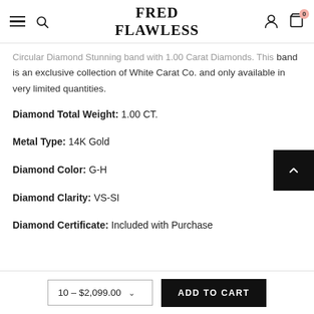Fred Flawless
Circular Diamond Stunning band with 1.00 Carat Diamonds. This band is an exclusive collection of White Carat Co. and only available in very limited quantities.
Diamond Total Weight: 1.00 CT.
Metal Type: 14K Gold
Diamond Color: G-H
Diamond Clarity: VS-SI
Diamond Certificate: Included with Purchase
10 - $2,099.00  ADD TO CART